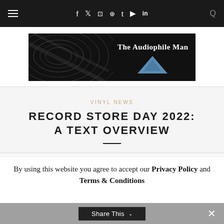≡  f  y  ⊡  ⊕  t  ▶  in  🔍
[Figure (logo): The Audiophile Man logo: dark background with vinyl record texture on left, text 'The Audiophile Man' in white serif font, and a blue downward-pointing triangle/diamond shape on right]
VINYL NEWS
RECORD STORE DAY 2022: A TEXT OVERVIEW
By using this website you agree to accept our Privacy Policy and Terms & Conditions
Share This